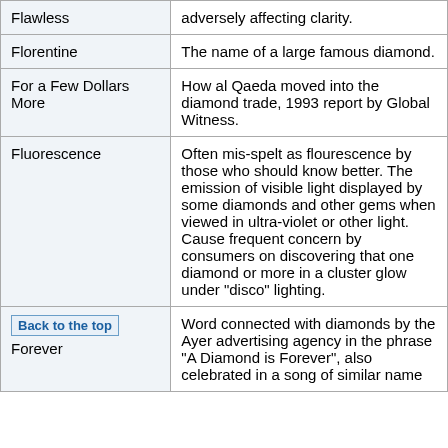| Term | Definition |
| --- | --- |
| Flawless | adversely affecting clarity. |
| Florentine | The name of a large famous diamond. |
| For a Few Dollars More | How al Qaeda moved into the diamond trade, 1993 report by Global Witness. |
| Fluorescence | Often mis-spelt as flourescence by those who should know better. The emission of visible light displayed by some diamonds and other gems when viewed in ultra-violet or other light. Cause frequent concern by consumers on discovering that one diamond or more in a cluster glow under "disco" lighting. |
| Forever | Word connected with diamonds by the Ayer advertising agency in the phrase "A Diamond is Forever", also celebrated in a song of similar name |